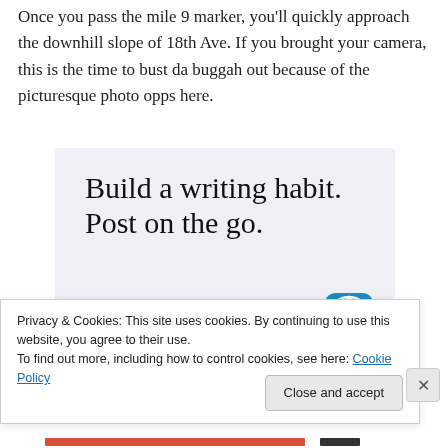Once you pass the mile 9 marker, you'll quickly approach the downhill slope of 18th Ave. If you brought your camera, this is the time to bust da buggah out because of the picturesque photo opps here.
[Figure (other): WordPress advertisement: 'Build a writing habit. Post on the go.' with GET THE APP call to action and WordPress logo icon, on a light blue-grey background.]
Privacy & Cookies: This site uses cookies. By continuing to use this website, you agree to their use.
To find out more, including how to control cookies, see here: Cookie Policy